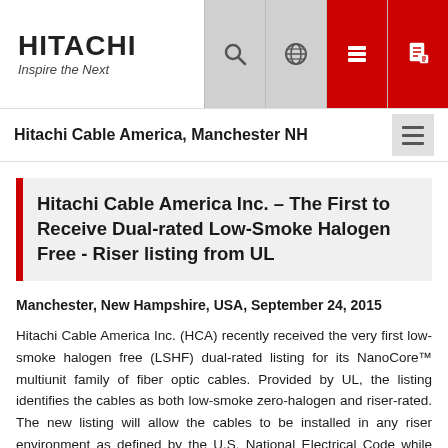Hitachi Cable America, Manchester NH
Hitachi Cable America Inc. – The First to Receive Dual-rated Low-Smoke Halogen Free - Riser listing from UL
Manchester, New Hampshire, USA, September 24, 2015
Hitachi Cable America Inc. (HCA) recently received the very first low-smoke halogen free (LSHF) dual-rated listing for its NanoCore™ multiunit family of fiber optic cables. Provided by UL, the listing identifies the cables as both low-smoke zero-halogen and riser-rated. The new listing will allow the cables to be installed in any riser environment as defined by the U.S. National Electrical Code while also providing the halogen-free characteristics that many owners desire in their cable infrastructure. Products utilizing halogen-free materials are considered